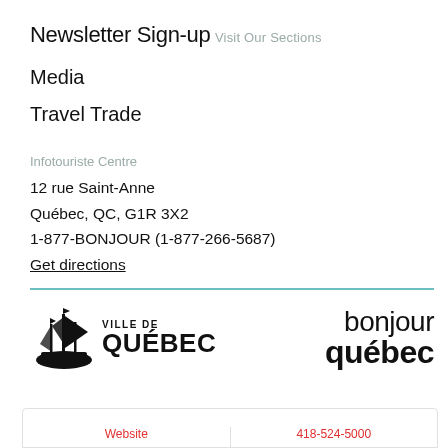Newsletter Sign-up
Visit Our Sections
Media
Travel Trade
Infotouriste Centre
12 rue Saint-Anne
Québec, QC, G1R 3X2
1-877-BONJOUR (1-877-266-5687)
Get directions
[Figure (logo): Ville de Québec logo with sailing ship icon]
[Figure (logo): Bonjour Québec logo in bold black text]
Website